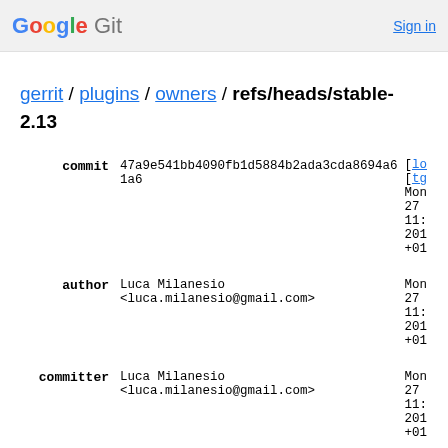Google Git  Sign in
gerrit / plugins / owners / refs/heads/stable-2.13
| commit | 47a9e541bb4090fb1d5884b2ada3cda8694a61a6 | [lo... [tg... Mon 27 11: 201 +01 |
| author | Luca Milanesio <luca.milanesio@gmail.com> | Mon 27 11: 201 +01 |
| committer | Luca Milanesio <luca.milanesio@gmail.com> | Mon 27 11: 201 +01 |
| tree | 6ca9791b875ecfe3be1024f7604f58836259e865 |  |